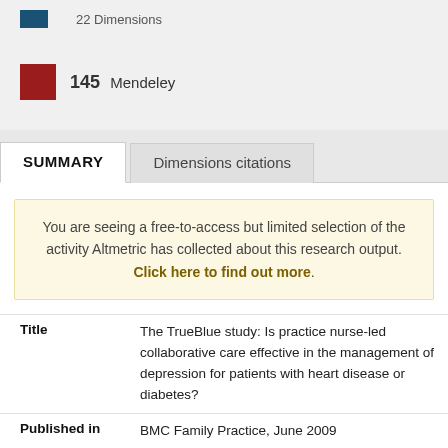[Figure (other): Blue square badge icon (partial, top of page)]
145 Mendeley
SUMMARY
Dimensions citations
You are seeing a free-to-access but limited selection of the activity Altmetric has collected about this research output. Click here to find out more.
| Field | Value |
| --- | --- |
| Title | The TrueBlue study: Is practice nurse-led collaborative care effective in the management of depression for patients with heart disease or diabetes? |
| Published in | BMC Family Practice, June 2009 |
| DOI | 10.1186/1471-2296-10-13 |